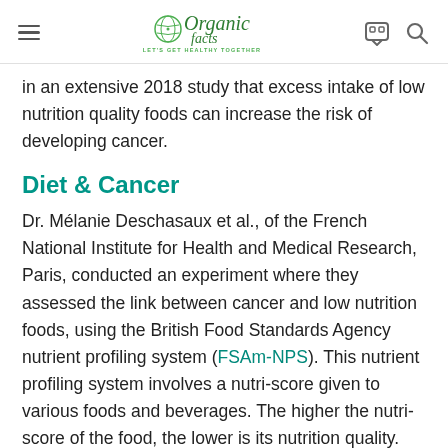Organic Facts — Let's Get Healthy Together
in an extensive 2018 study that excess intake of low nutrition quality foods can increase the risk of developing cancer.
Diet & Cancer
Dr. Mélanie Deschasaux et al., of the French National Institute for Health and Medical Research, Paris, conducted an experiment where they assessed the link between cancer and low nutrition foods, using the British Food Standards Agency nutrient profiling system (FSAm-NPS). This nutrient profiling system involves a nutri-score given to various foods and beverages. The higher the nutri-score of the food, the lower is its nutrition quality. The study found out that consumption of foods with